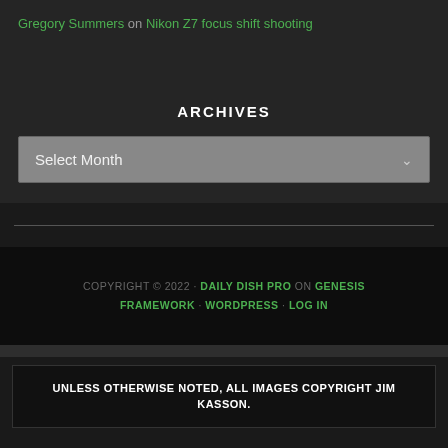Gregory Summers on Nikon Z7 focus shift shooting
ARCHIVES
Select Month
COPYRIGHT © 2022 · DAILY DISH PRO ON GENESIS FRAMEWORK · WORDPRESS · LOG IN
UNLESS OTHERWISE NOTED, ALL IMAGES COPYRIGHT JIM KASSON.